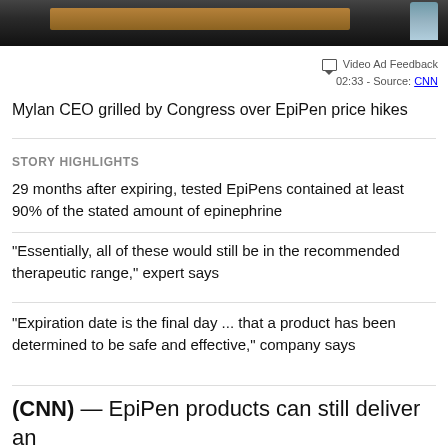[Figure (photo): Screenshot of a CNN news article page showing a video thumbnail of congressional hearing, with a wooden podium bar visible and a blue bottle in the corner]
Video Ad Feedback
02:33 - Source: CNN
Mylan CEO grilled by Congress over EpiPen price hikes
STORY HIGHLIGHTS
29 months after expiring, tested EpiPens contained at least 90% of the stated amount of epinephrine
"Essentially, all of these would still be in the recommended therapeutic range," expert says
"Expiration date is the final day ... that a product has been determined to be safe and effective," company says
(CNN) — EpiPen products can still deliver an